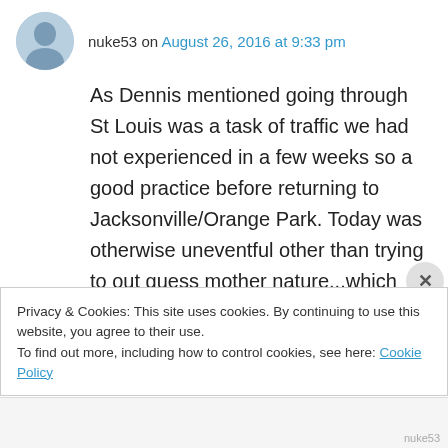nuke53 on August 26, 2016 at 9:33 pm
As Dennis mentioned going through St Louis was a task of traffic we had not experienced in a few weeks so a good practice before returning to Jacksonville/Orange Park. Today was otherwise uneventful other than trying to out guess mother nature...which rarely happens! A long ride for me tomorrow but an early start and Saturday traffic I am hoping to make good time getting home! It has been a great adventure which must come to
Privacy & Cookies: This site uses cookies. By continuing to use this website, you agree to their use.
To find out more, including how to control cookies, see here: Cookie Policy